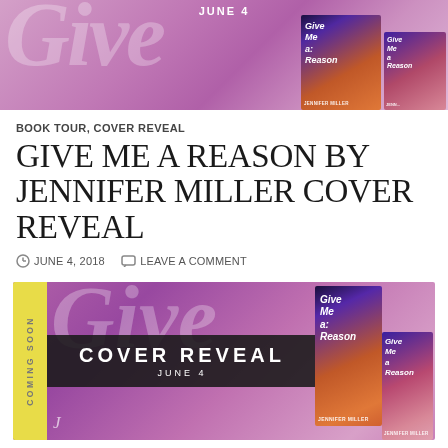[Figure (illustration): Banner image with pink/purple watercolor background, cursive 'Give' script text, and book covers on the right showing 'Give Me a Reason' by Jennifer Miller. 'JUNE 4' text at top center.]
BOOK TOUR, COVER REVEAL
GIVE ME A REASON BY JENNIFER MILLER COVER REVEAL
JUNE 4, 2018   LEAVE A COMMENT
[Figure (illustration): Cover reveal banner with yellow side strip reading 'COMING SOON', purple/pink background with cursive 'Give' text, dark center bar reading 'COVER REVEAL JUNE 4', book covers on right showing 'Give Me a Reason' by Jennifer Miller in both print and ebook formats, and a publisher logo at bottom left.]
Title: Give Me A Reason